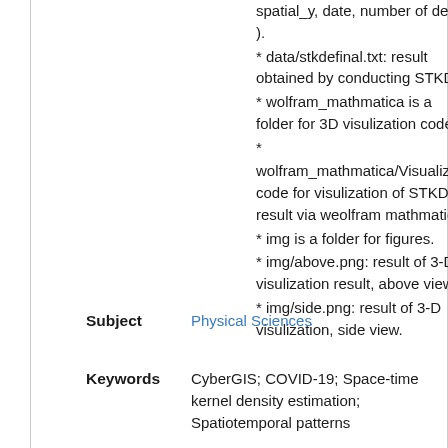spatial_y, date, number of death ).
* data/stkdefinal.txt: result obtained by conducting STKDE.
* wolfram_mathmatica is a folder for 3D visulization code.
* wolfram_mathmatica/Visualization.nb: code for visulization of STKDE result via weolfram mathmatica.
* img is a folder for figures.
* img/above.png: result of 3-D visulization result, above view.
* img/side.png: result of 3-D visulization, side view.
Subject
Physical Sciences
Keywords
CyberGIS; COVID-19; Space-time kernel density estimation; Spatiotemporal patterns